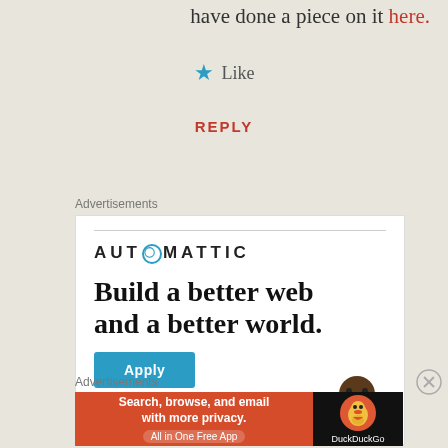have done a piece on it here.
Like
REPLY
Advertisements
[Figure (illustration): Automattic advertisement: logo with 'AUTOMATTIC' text and circular O icon, headline 'Build a better web and a better world.' with Apply button and person photo]
Advertisements
[Figure (illustration): DuckDuckGo advertisement: orange background with 'Search, browse, and email with more privacy. All in One Free App' and DuckDuckGo duck logo on dark background]